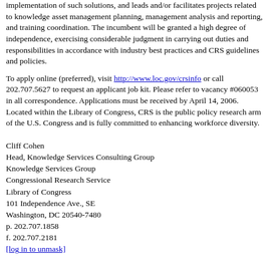implementation of such solutions, and leads and/or facilitates projects related to knowledge asset management planning, management analysis and reporting, and training coordination. The incumbent will be granted a high degree of independence, exercising considerable judgment in carrying out duties and responsibilities in accordance with industry best practices and CRS guidelines and policies.
To apply online (preferred), visit http://www.loc.gov/crsinfo or call 202.707.5627 to request an applicant job kit. Please refer to vacancy #060053 in all correspondence. Applications must be received by April 14, 2006. Located within the Library of Congress, CRS is the public policy research arm of the U.S. Congress and is fully committed to enhancing workforce diversity.
Cliff Cohen
Head, Knowledge Services Consulting Group
Knowledge Services Group
Congressional Research Service
Library of Congress
101 Independence Ave., SE
Washington, DC 20540-7480
p. 202.707.1858
f.  202.707.2181
[log in to unmask]